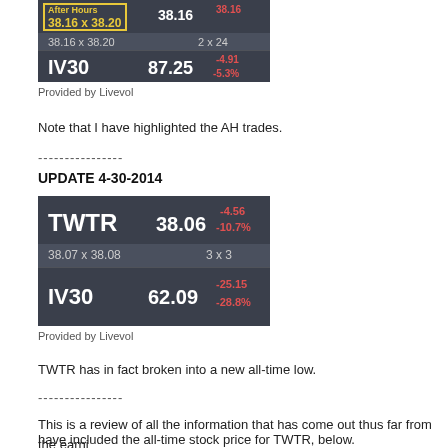[Figure (screenshot): Livevol stock widget showing After Hours price 38.16x38.20, 2x24, IV30 87.25, -4.91, -5.3%]
Provided by Livevol
Note that I have highlighted the AH trades.
----------------
UPDATE 4-30-2014
[Figure (screenshot): Livevol stock widget showing TWTR 38.06, -4.56, -10.7%, bid/ask 38.07x38.08, 3x3, IV30 62.09, -25.15, -28.8%]
Provided by Livevol
TWTR has in fact broken into a new all-time low.
----------------
This is a review of all the information that has come out thus far from the earnings. I have included the all-time stock price for TWTR, below.